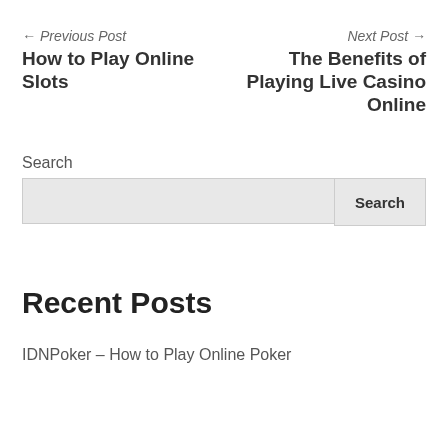← Previous Post
How to Play Online Slots
Next Post →
The Benefits of Playing Live Casino Online
Search
Search
Recent Posts
IDNPoker – How to Play Online Poker